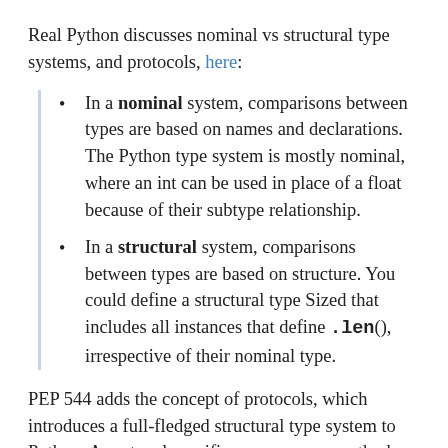Real Python discusses nominal vs structural type systems, and protocols, here:
In a nominal system, comparisons between types are based on names and declarations. The Python type system is mostly nominal, where an int can be used in place of a float because of their subtype relationship.
In a structural system, comparisons between types are based on structure. You could define a structural type Sized that includes all instances that define .len(), irrespective of their nominal type.
PEP 544 adds the concept of protocols, which introduces a full-fledged structural type system to Python. A protocol specifies one or more methods that must be implemented, and are a way of formalizing